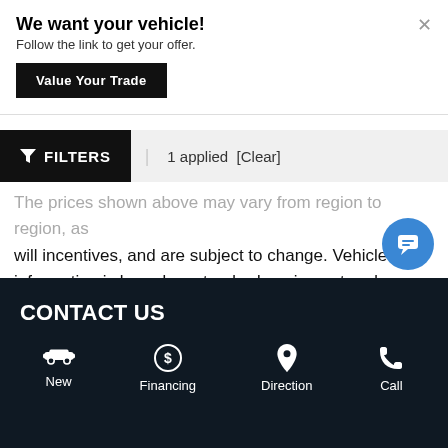We want your vehicle!
Follow the link to get your offer.
Value Your Trade
FILTERS  |  1 applied  [Clear]
The prices shown above may vary from region to region, as will incentives, and are subject to change. Vehicle information is based on standard equipment and may vary from vehicle to vehicle. Call or email for complete vehicle-specific information.
CONTACT US
New
Financing
Direction
Call